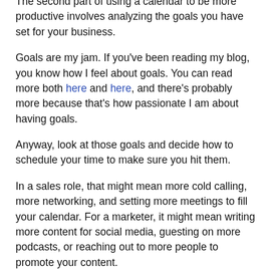The second part of using a calendar to be more productive involves analyzing the goals you have set for your business.
Goals are my jam. If you've been reading my blog, you know how I feel about goals. You can read more both here and here, and there's probably more because that's how passionate I am about having goals.
Anyway, look at those goals and decide how to schedule your time to make sure you hit them.
In a sales role, that might mean more cold calling, more networking, and setting more meetings to fill your calendar. For a marketer, it might mean writing more content for social media, guesting on more podcasts, or reaching out to more people to promote your content.
But more isn't specific, and it's barely measurable. So break it down even more.
If you want to make $100k in a year, you need to sell $2,000